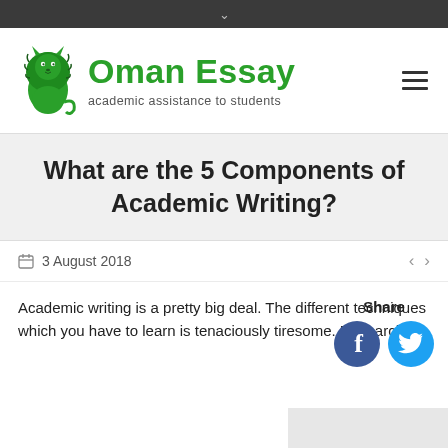Oman Essay — academic assistance to students
What are the 5 Components of Academic Writing?
3 August 2018
Share
Academic writing is a pretty big deal. The different techniques which you have to learn is tenaciously tiresome. Researching